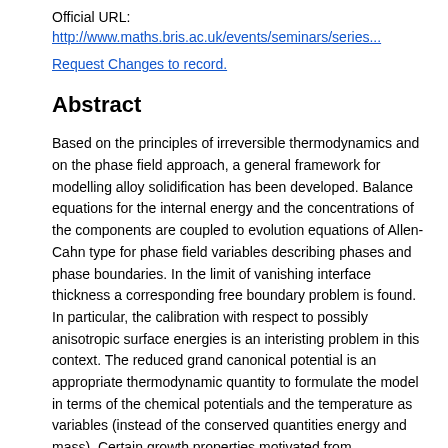Official URL: http://www.maths.bris.ac.uk/events/seminars/series...
Request Changes to record.
Abstract
Based on the principles of irreversible thermodynamics and on the phase field approach, a general framework for modelling alloy solidification has been developed. Balance equations for the internal energy and the concentrations of the components are coupled to evolution equations of Allen-Cahn type for phase field variables describing phases and phase boundaries. In the limit of vanishing interface thickness a corresponding free boundary problem is found. In particular, the calibration with respect to possibly anisotropic surface energies is an interisting problem in this context. The reduced grand canonical potential is an appropriate thermodynamic quantity to formulate the model in terms of the chemical potentials and the temperature as variables (instead of the conserved quantities energy and mass). Certain growth properties motivated from thermodynamics make it difficult to show existence of weak solutions to the parabolic differential equations governing the evolution but immediately yield the correct range of certain thermodynamic quantities as, for example, positivity of the temperature. We conclude with a few simulations results of dendritic and eutectic growth.